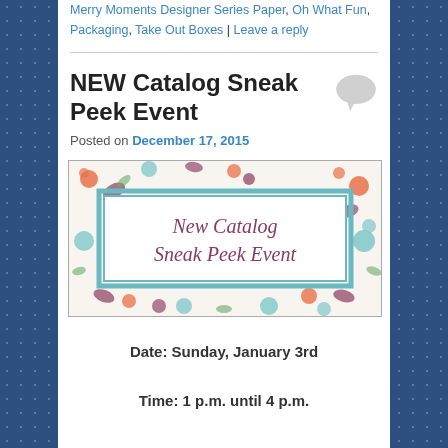Merry Moments Designer Series Paper, Oh What Fun, Packaging, Take Out Boxes | Leave a reply
NEW Catalog Sneak Peek Event
Posted on December 17, 2015
[Figure (illustration): Decorative banner image with floral pattern border and text reading 'New Catalog Sneak Peek Event' in a teal-bordered white rectangle]
Date: Sunday, January 3rd
Time: 1 p.m. until 4 p.m.